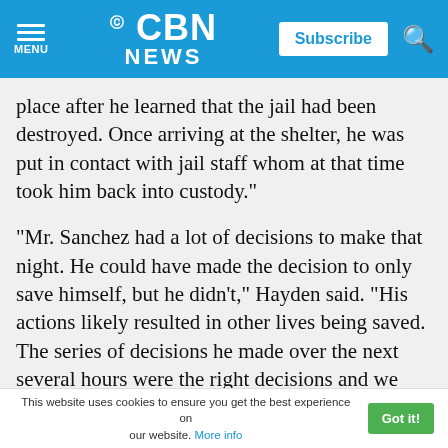CBN NEWS
place after he learned that the jail had been destroyed. Once arriving at the shelter, he was put in contact with jail staff whom at that time took him back into custody."
"Mr. Sanchez had a lot of decisions to make that night. He could have made the decision to only save himself, but he didn't," Hayden said. "His actions likely resulted in other lives being saved. The series of decisions he made over the next several hours were the right decisions and we applaud you for that sir."
This website uses cookies to ensure you get the best experience on our website. More info  Got it!